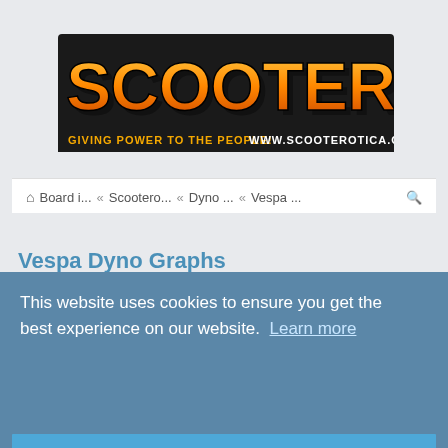[Figure (logo): Scooterotica logo - large stylized orange/gold text on dark background with text 'GIVING POWER TO THE PEOPLE! WWW.SCOOTEROTICA.ORG']
Board i... « Scootero... « Dyno ... « Vespa ...
Vespa Dyno Graphs
This website uses cookies to ensure you get the best experience on our website. Learn more
New Topic  Search this forum...
10 topics • Page 1 of 1
Got it!